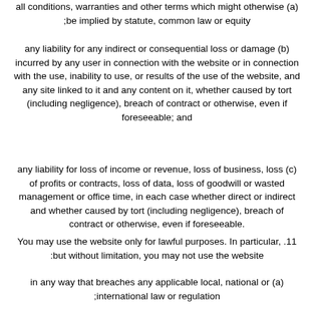all conditions, warranties and other terms which might otherwise (a) ;be implied by statute, common law or equity
any liability for any indirect or consequential loss or damage (b) incurred by any user in connection with the website or in connection with the use, inability to use, or results of the use of the website, and any site linked to it and any content on it, whether caused by tort (including negligence), breach of contract or otherwise, even if foreseeable; and
any liability for loss of income or revenue, loss of business, loss (c) of profits or contracts, loss of data, loss of goodwill or wasted management or office time, in each case whether direct or indirect and whether caused by tort (including negligence), breach of contract or otherwise, even if foreseeable.
You may use the website only for lawful purposes. In particular, .11 :but without limitation, you may not use the website
in any way that breaches any applicable local, national or (a) ;international law or regulation